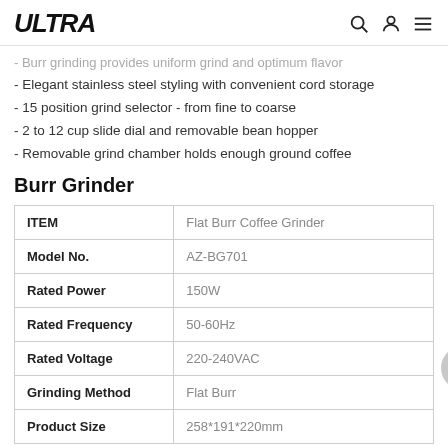ULTRA
- Burr grinding provides uniform grind and optimum flavor
- Elegant stainless steel styling with convenient cord storage
- 15 position grind selector - from fine to coarse
- 2 to 12 cup slide dial and removable bean hopper
- Removable grind chamber holds enough ground coffee
Burr Grinder
| ITEM |  |
| --- | --- |
| ITEM | Flat Burr Coffee Grinder |
| Model No. | AZ-BG701 |
| Rated Power | 150W |
| Rated Frequency | 50-60Hz |
| Rated Voltage | 220-240VAC |
| Grinding Method | Flat Burr |
| Product Size | 258*191*220mm |